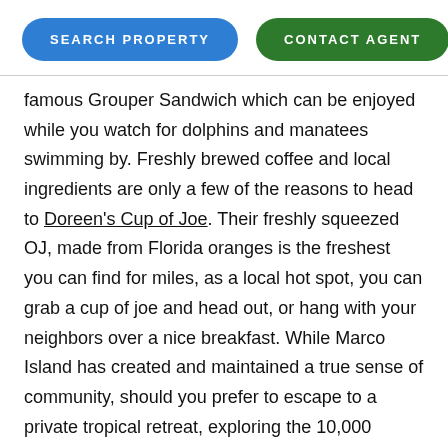[Figure (other): Two pill-shaped navigation buttons: 'SEARCH PROPERTY' in blue and 'CONTACT AGENT' in green]
famous Grouper Sandwich which can be enjoyed while you watch for dolphins and manatees swimming by. Freshly brewed coffee and local ingredients are only a few of the reasons to head to Doreen's Cup of Joe. Their freshly squeezed OJ, made from Florida oranges is the freshest you can find for miles, as a local hot spot, you can grab a cup of joe and head out, or hang with your neighbors over a nice breakfast. While Marco Island has created and maintained a true sense of community, should you prefer to escape to a private tropical retreat, exploring the 10,000 islands can provide endless